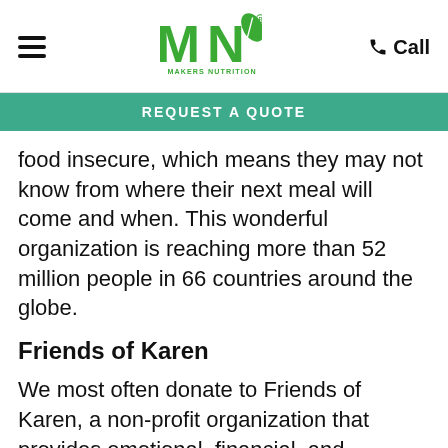Makers Nutrition — Call
REQUEST A QUOTE
food insecure, which means they may not know from where their next meal will come and when. This wonderful organization is reaching more than 52 million people in 66 countries around the globe.
Friends of Karen
We most often donate to Friends of Karen, a non-profit organization that provides emotional, financial, and advocacy support for children with a life-threatening illness and their families. The